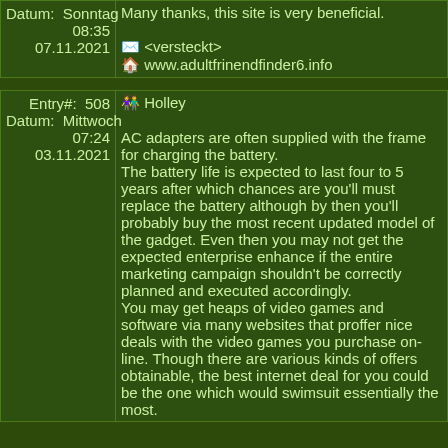| Datum:   Sonntag 08:35
07.11.2021 | Many thanks, this site is very beneficial.
✉ <versteckt>
🏠 www.adultfrinendfinder6.info |
| Entry#: 508
Datum: Mittwoch 07:24
03.11.2021 | 👥 Holley
AC adapters are often supplied with the frame for charging the battery.
The battery life is expected to last four to 5 years after which chances are you'll must replace the battery although by then you'll probably buy the most recent updated model of the gadget. Even then you may not get the expected enterprise enhance if the entire marketing campaign shouldn't be correctly planned and executed accordingly.
You may get heaps of video games and software via many websites that proffer nice deals with the video games you purchase on-line. Though there are various kinds of offers obtainable, the best internet deal for you could be the one which would swimsuit essentially the most. |